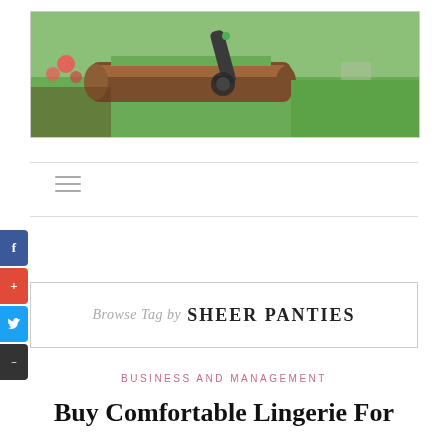[Figure (photo): Outdoor garden scene showing a lawn trimmer/edger near a log edging with green grass and flowers]
Browse Tag by  SHEER PANTIES
BUSINESS AND MANAGEMENT
Buy Comfortable Lingerie For